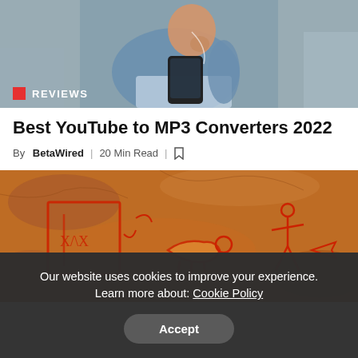[Figure (photo): Person in denim jacket holding a smartphone and wearing earphones, looking at the screen]
REVIEWS
Best YouTube to MP3 Converters 2022
By BetaWired | 20 Min Read | bookmark icon
[Figure (photo): Cave painting with red figures of animals and human-like figures on a rocky surface]
Our website uses cookies to improve your experience. Learn more about: Cookie Policy
Accept